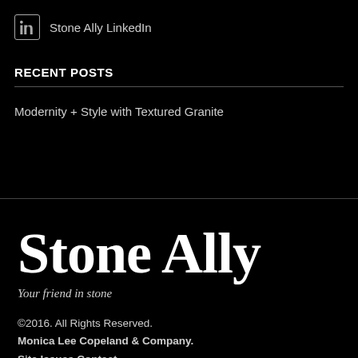[Figure (logo): LinkedIn icon with 'in' text inside a rounded rectangle border, followed by text 'Stone Ally LinkedIn']
RECENT POSTS
Modernity + Style with Textured Granite
[Figure (logo): Stone Ally large serif wordmark logo in white on black background]
Your friend in stone
©2016. All Rights Reserved. Monica Lee Copeland & Company. Site Issues Contact